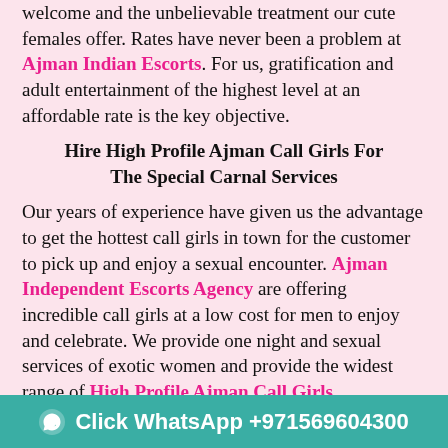welcome and the unbelievable treatment our cute females offer. Rates have never been a problem at Ajman Indian Escorts. For us, gratification and adult entertainment of the highest level at an affordable rate is the key objective.
Hire High Profile Ajman Call Girls For The Special Carnal Services
Our years of experience have given us the advantage to get the hottest call girls in town for the customer to pick up and enjoy a sexual encounter. Ajman Independent Escorts Agency are offering incredible call girls at a low cost for men to enjoy and celebrate. We provide one night and sexual services of exotic women and provide the widest range of High Profile Ajman Call Girls companionship. Our Ajman call girl services are matchless. The ability to do very wild things that customers would enjoy is one of the most desirable qualities of our enjoy females in Ajman and UAE.
Click WhatsApp +971569604300